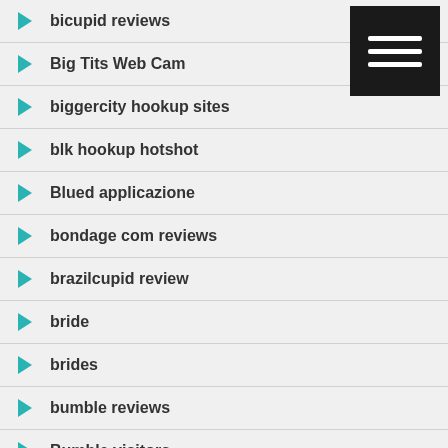bicupid reviews
Big Tits Web Cam
biggercity hookup sites
blk hookup hotshot
Blued applicazione
bondage com reviews
brazilcupid review
bride
brides
bumble reviews
Bumble visitors
cambodian mail order brides